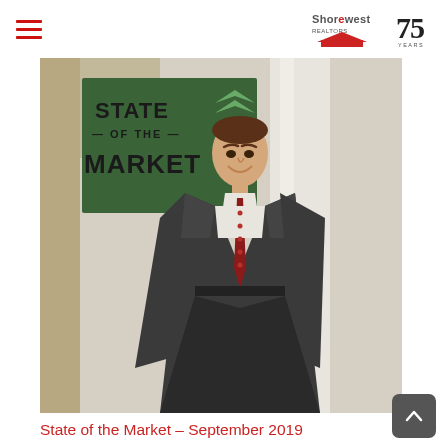Shorewest 75 Years
[Figure (photo): Man in dark suit and red tie standing in front of a 'State of the Market' sign]
State of the Market – September 2019
A letter from Joseph A. Horning, President of Shorewest, REALTORS® Today there is a lot of noise and mixed messages about the housing